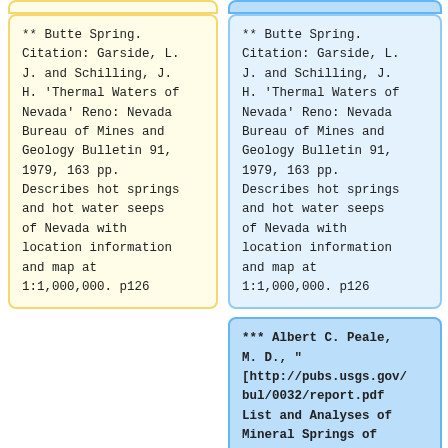** Butte Spring. Citation: Garside, L. J. and Schilling, J. H. 'Thermal Waters of Nevada' Reno: Nevada Bureau of Mines and Geology Bulletin 91, 1979, 163 pp. Describes hot springs and hot water seeps of Nevada with location information and map at 1:1,000,000. p126
** Butte Spring. Citation: Garside, L. J. and Schilling, J. H. 'Thermal Waters of Nevada' Reno: Nevada Bureau of Mines and Geology Bulletin 91, 1979, 163 pp. Describes hot springs and hot water seeps of Nevada with location information and map at 1:1,000,000. p126
*** Albert C. Peale, M. D., " [http://pubs.usgs.gov/bul/0032/report.pdf List and Analyses of Mineral Springs of